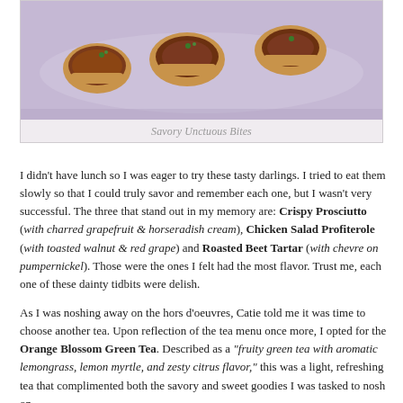[Figure (photo): Food photo showing savory bites/crostini on a purple/lavender plate]
Savory Unctuous Bites
I didn't have lunch so I was eager to try these tasty darlings. I tried to eat them slowly so that I could truly savor and remember each one, but I wasn't very successful. The three that stand out in my memory are: Crispy Prosciutto (with charred grapefruit & horseradish cream), Chicken Salad Profiterole (with toasted walnut & red grape) and Roasted Beet Tartar (with chevre on pumpernickel). Those were the ones I felt had the most flavor. Trust me, each one of these dainty tidbits were delish.
As I was noshing away on the hors d'oeuvres, Catie told me it was time to choose another tea. Upon reflection of the tea menu once more, I opted for the Orange Blossom Green Tea. Described as a "fruity green tea with aromatic lemongrass, lemon myrtle, and zesty citrus flavor," this was a light, refreshing tea that complimented both the savory and sweet goodies I was tasked to nosh on.